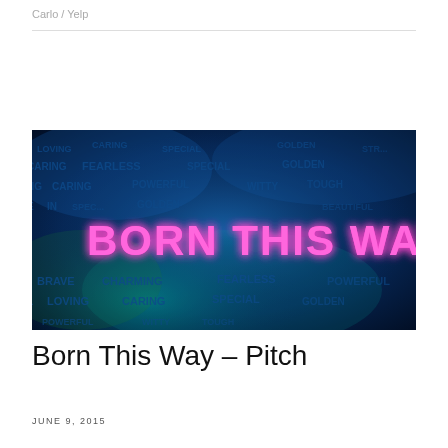Carlo / Yelp
[Figure (photo): Neon pink text reading 'BORN THIS WAY' glowing against a dark blue smoky background with words like FEARLESS, CARING, BRAVE, CHARMING, SPECIAL, GOLDEN, LOVING, POWERFUL overlaid in dark text]
Born This Way – Pitch
JUNE 9, 2015